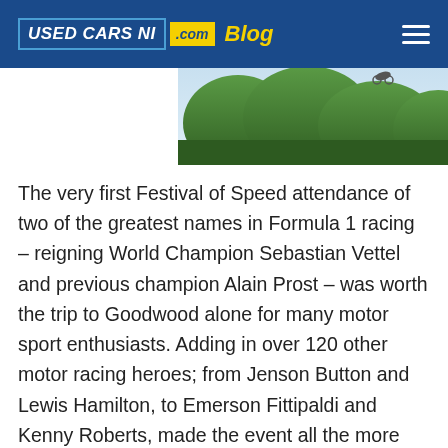USED CARS NI .com Blog
[Figure (photo): Outdoor photo showing trees and sky with what appears to be a motorcycle in the air]
The very first Festival of Speed attendance of two of the greatest names in Formula 1 racing – reigning World Champion Sebastian Vettel and previous champion Alain Prost – was worth the trip to Goodwood alone for many motor sport enthusiasts. Adding in over 120 other motor racing heroes; from Jenson Button and Lewis Hamilton, to Emerson Fittipaldi and Kenny Roberts, made the event all the more memorable. Goodwood's homage to Lotus, in the form of a 28-metre high sculpture outside